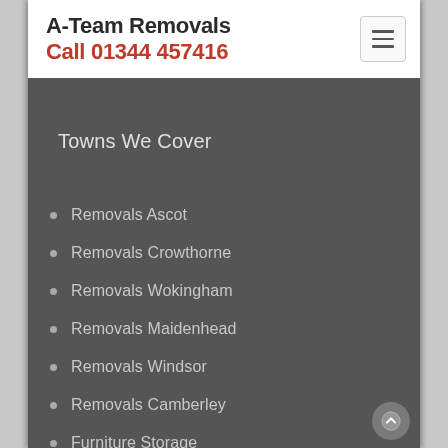A-Team Removals
Call 01344 457416
Towns We Cover
Removals Ascot
Removals Crowthorne
Removals Wokingham
Removals Maidenhead
Removals Windsor
Removals Camberley
Furniture Storage